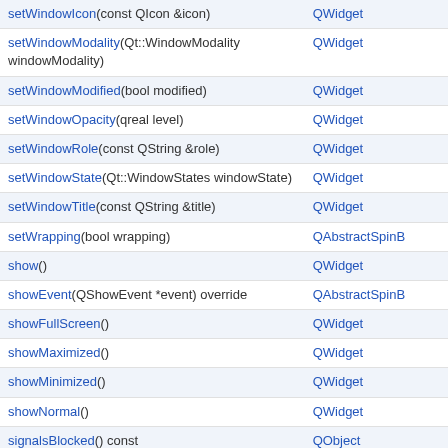| Method | From |
| --- | --- |
| setWindowIcon(const QIcon &icon) | QWidget |
| setWindowModality(Qt::WindowModality windowModality) | QWidget |
| setWindowModified(bool modified) | QWidget |
| setWindowOpacity(qreal level) | QWidget |
| setWindowRole(const QString &role) | QWidget |
| setWindowState(Qt::WindowStates windowState) | QWidget |
| setWindowTitle(const QString &title) | QWidget |
| setWrapping(bool wrapping) | QAbstractSpinB |
| show() | QWidget |
| showEvent(QShowEvent *event) override | QAbstractSpinB |
| showFullScreen() | QWidget |
| showMaximized() | QWidget |
| showMinimized() | QWidget |
| showNormal() | QWidget |
| signalsBlocked() const | QObject |
| size | QWidget |